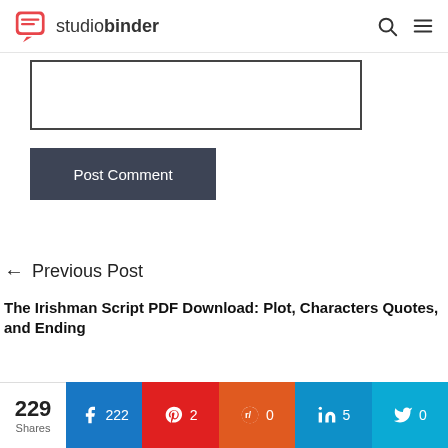studiobinder
[Figure (screenshot): Comment text input box (empty)]
[Figure (screenshot): Post Comment button]
← Previous Post
The Irishman Script PDF Download: Plot, Characters Quotes, and Ending
229 Shares | Facebook 222 | Pinterest 2 | Reddit 0 | LinkedIn 5 | Twitter 0